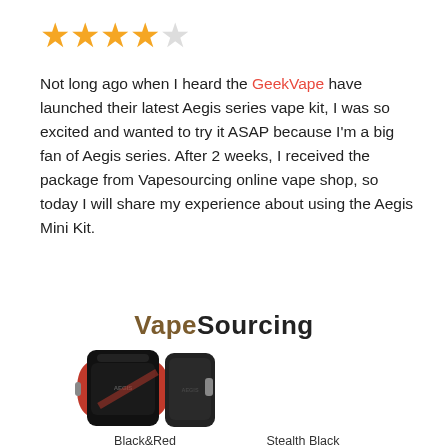[Figure (other): 4.5 star rating shown with 4 filled gold stars and 1 empty/outline star]
Not long ago when I heard the GeekVape have launched their latest Aegis series vape kit, I was so excited and wanted to try it ASAP because I'm a big fan of Aegis series. After 2 weeks, I received the package from Vapesourcing online vape shop, so today I will share my experience about using the Aegis Mini Kit.
[Figure (logo): VapeSourcing logo in brown and black bold text]
[Figure (photo): Two Aegis Mini Kit vape mods side by side: one Black&Red and one Stealth Black, displayed with product labels below]
Black&Red
Stealth Black